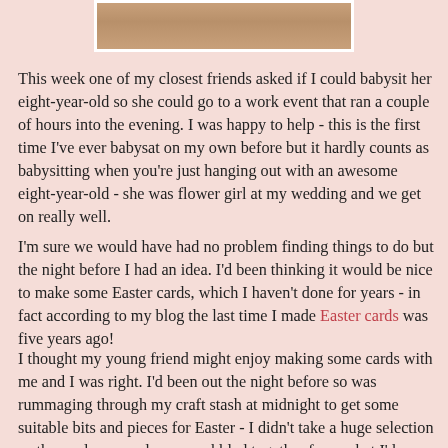[Figure (photo): Partial photo of a wooden surface or craft table, cropped at the top of the page with a white border.]
This week one of my closest friends asked if I could babysit her eight-year-old so she could go to a work event that ran a couple of hours into the evening. I was happy to help - this is the first time I've ever babysat on my own before but it hardly counts as babysitting when you're just hanging out with an awesome eight-year-old - she was flower girl at my wedding and we get on really well.
I'm sure we would have had no problem finding things to do but the night before I had an idea. I'd been thinking it would be nice to make some Easter cards, which I haven't done for years - in fact according to my blog the last time I made Easter cards was five years ago!
I thought my young friend might enjoy making some cards with me and I was right. I'd been out the night before so was rummaging through my craft stash at midnight to get some suitable bits and pieces for Easter - I didn't take a huge selection so the cards we made were cobbled together from what I'd brought with me!